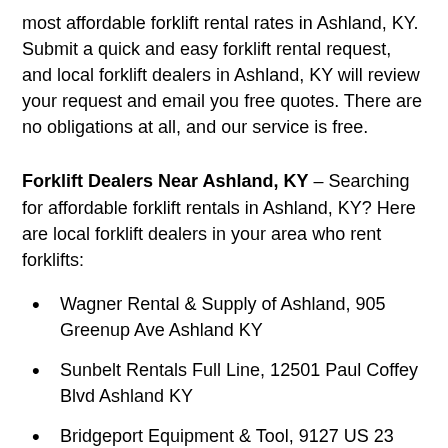most affordable forklift rental rates in Ashland, KY. Submit a quick and easy forklift rental request, and local forklift dealers in Ashland, KY will review your request and email you free quotes. There are no obligations at all, and our service is free.
Forklift Dealers Near Ashland, KY – Searching for affordable forklift rentals in Ashland, KY? Here are local forklift dealers in your area who rent forklifts:
Wagner Rental & Supply of Ashland, 905 Greenup Ave Ashland KY
Sunbelt Rentals Full Line, 12501 Paul Coffey Blvd Ashland KY
Bridgeport Equipment & Tool, 9127 US 23 Wurtland KY